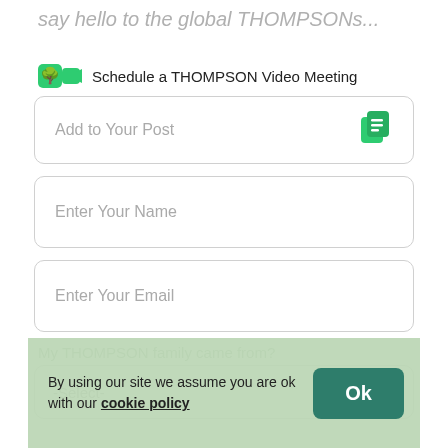say hello to the global THOMPSONs...
Schedule a THOMPSON Video Meeting
Add to Your Post
Enter Your Name
Enter Your Email
My THOMPSON family came from?
-Select-
By using our site we assume you are ok with our cookie policy